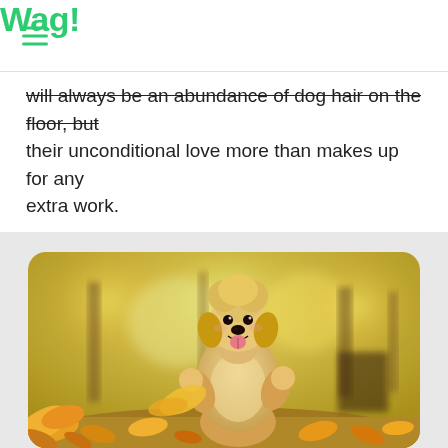Wag!
will always be an abundance of dog hair on the floor, but their unconditional love more than makes up for any extra work.
[Figure (photo): A fluffy apricot/cream standard poodle standing upright on its hind legs in an autumn park, surrounded by golden fallen leaves and bokeh-blurred yellow trees in the background. The poodle is smiling with its pink tongue out.]